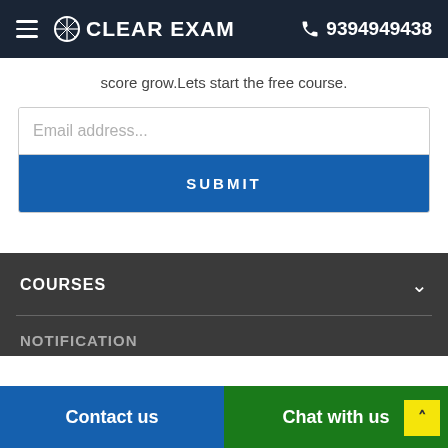CLEAR EXAM   9394949438
score grow.Lets start the free course.
Email address...
SUBMIT
COURSES
NOTIFICATION
Contact us
Chat with us